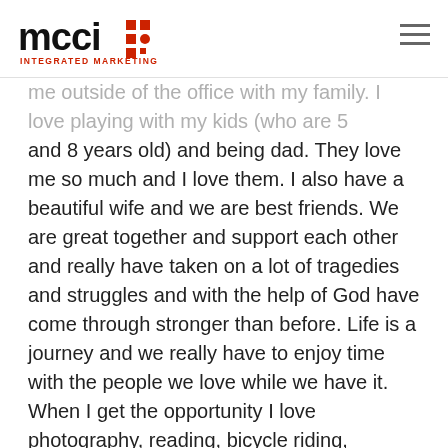MCCI Integrated Marketing logo and navigation
me outside of the office with my family. I love playing with my kids (who are 5 and 8 years old) and being dad. They love me so much and I love them. I also have a beautiful wife and we are best friends. We are great together and support each other and really have taken on a lot of tragedies and struggles and with the help of God have come through stronger than before. Life is a journey and we really have to enjoy time with the people we love while we have it. When I get the opportunity I love photography, reading, bicycle riding, camping, swimming, reflecting/relaxing, making short films and being outdoors. I also enjoy volunteering in an advisory role at Walnut Lake Preschool